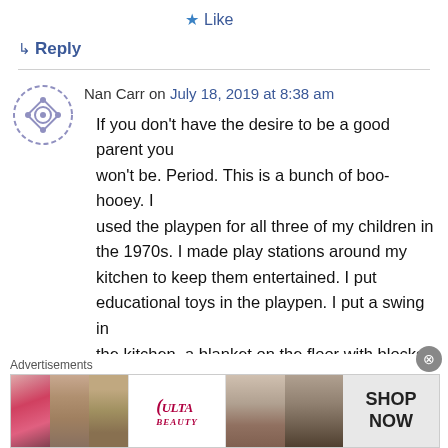★ Like
↳ Reply
Nan Carr on July 18, 2019 at 8:38 am
If you don't have the desire to be a good parent you won't be. Period. This is a bunch of boo-hooey. I used the playpen for all three of my children in the 1970s. I made play stations around my kitchen to keep them entertained. I put educational toys in the playpen. I put a swing in the kitchen, a blanket on the floor with blocks. As
Advertisements
[Figure (photo): Advertisement banner for ULTA beauty products showing makeup/cosmetics imagery with 'SHOP NOW' call to action]